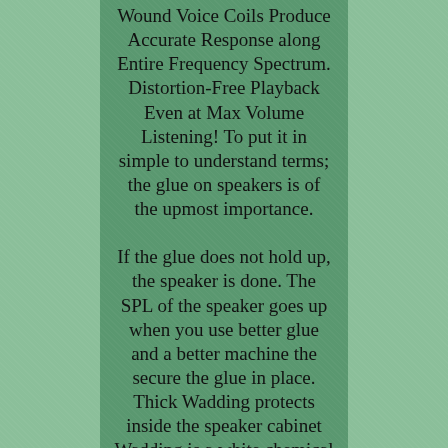Wound Voice Coils Produce Accurate Response along Entire Frequency Spectrum. Distortion-Free Playback Even at Max Volume Listening! To put it in simple to understand terms; the glue on speakers is of the upmost importance.

If the glue does not hold up, the speaker is done. The SPL of the speaker goes up when you use better glue and a better machine the secure the glue in place. Thick Wadding protects inside the speaker cabinet Wadding is a white chemical silk type of material that we put inside the speaker cabinet for multiple reasons. It helps to make the sound come out more clearly, and it also protects all the parts inside the speaker. Most other brands do not take this step due to the cost of the material, but it is a game changer! World-class top of the line audiophile grade components! These components also are amazing and allow us to adjust the sound via soft programing on a computer during the design stage to get the perfect sound. Most people do not know brands that make circuits, but these are famous in that industry and known to be the best of